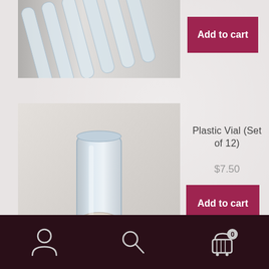[Figure (photo): Partially visible product image of glass test tubes from top]
Add to cart
[Figure (photo): A plastic vial with a white cap on a white background]
Plastic Vial (Set of 12)
$7.50
Add to cart
[Figure (photo): Partially visible image of a lab support stand]
Lab Support Stand
User icon | Search icon | Cart icon (0)